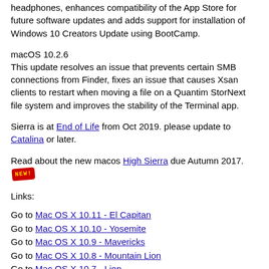headphones, enhances compatibility of the App Store for future software updates and adds support for installation of Windows 10 Creators Update using BootCamp.
macOS 10.2.6
This update resolves an issue that prevents certain SMB connections from Finder, fixes an issue that causes Xsan clients to restart when moving a file on a Quantim StorNext file system and improves the stability of the Terminal app.
Sierra is at End of Life from Oct 2019. please update to Catalina or later.
Read about the new macos High Sierra due Autumn 2017. [NEW!]
Links:
Go to Mac OS X 10.11 - El Capitan
Go to Mac OS X 10.10 - Yosemite
Go to Mac OS X 10.9 - Mavericks
Go to Mac OS X 10.8 - Mountain Lion
Go to Mac OS X 10.7 - Lion
Visitor #: